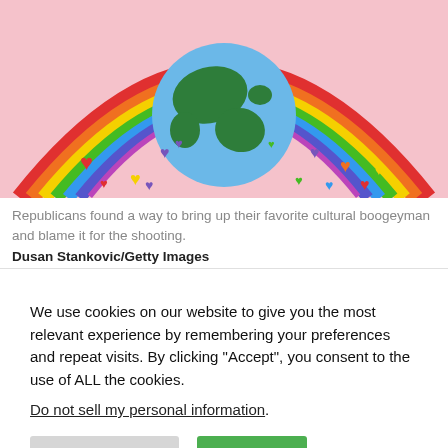[Figure (illustration): Colorful illustration with a rainbow arching over a globe (Earth with green continents on blue background), on a pink background with colorful heart shapes scattered around.]
Republicans found a way to bring up their favorite cultural boogeyman and blame it for the shooting.
Dusan Stankovic/Getty Images
We use cookies on our website to give you the most relevant experience by remembering your preferences and repeat visits. By clicking “Accept”, you consent to the use of ALL the cookies.
Do not sell my personal information.